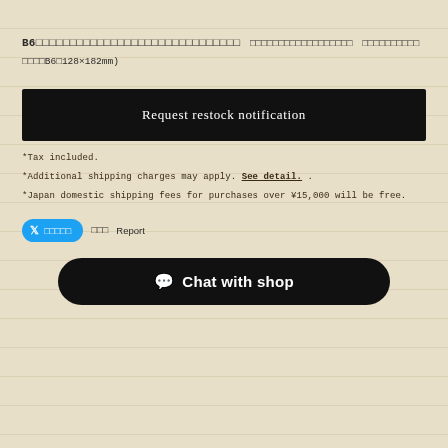B6サイズのシステム手帳リフィルです。穴開き加工済み
ご購入前にサイズをご確認ください
対応サイズ一覧
対応サイズ　B6（128×182mm）
Request restock notification
*Tax included.
*Additional shipping charges may apply. See detail. .
*Japan domestic shipping fees for purchases over ¥15,000 will be free.
ツイートする　シェア　Report
Chat with shop